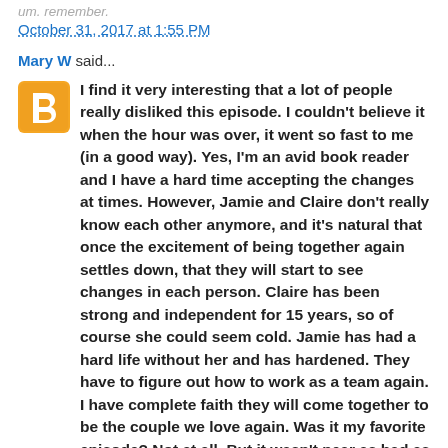um. remember.
October 31, 2017 at 1:55 PM
Mary W said...
I find it very interesting that a lot of people really disliked this episode. I couldn't believe it when the hour was over, it went so fast to me (in a good way). Yes, I'm an avid book reader and I have a hard time accepting the changes at times. However, Jamie and Claire don't really know each other anymore, and it's natural that once the excitement of being together again settles down, that they will start to see changes in each person. Claire has been strong and independent for 15 years, so of course she could seem cold. Jamie has had a hard life without her and has hardened. They have to figure out how to work as a team again. I have complete faith they will come together to be the couple we love again. Was it my favorite episode? Not at all. But it wasn't near as bad as everyone makes it out to be in my opinion. I will, though, be interested to see if this writer does another episode and how